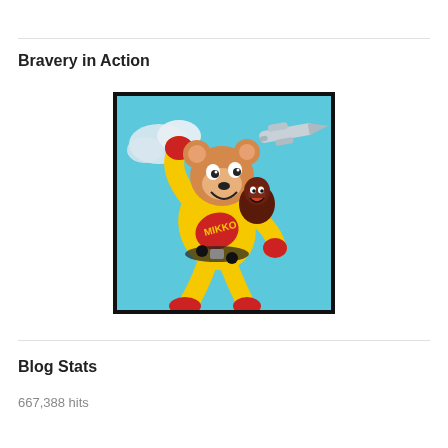Bravery in Action
[Figure (illustration): Cartoon illustration of a superhero mouse/bear character in a yellow and red suit labeled 'MIKKO', flying through a blue sky with clouds and an airplane, carrying a figure on its back.]
Blog Stats
667,388 hits